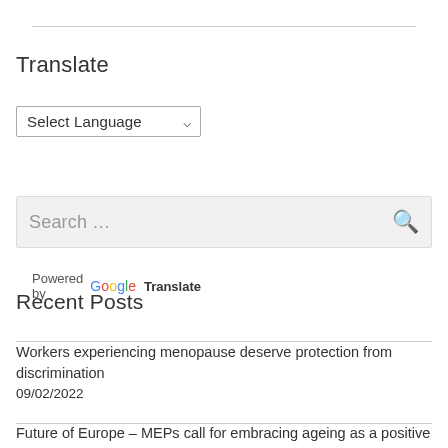Translate
[Figure (screenshot): Language selector dropdown showing 'Select Language' with a chevron arrow, and 'Powered by Google Translate' text below]
[Figure (screenshot): Search box with placeholder text 'Search ...' and a search (magnifying glass) icon on the right]
Recent Posts
Workers experiencing menopause deserve protection from discrimination
09/02/2022
Future of Europe – MEPs call for embracing ageing as a positive process